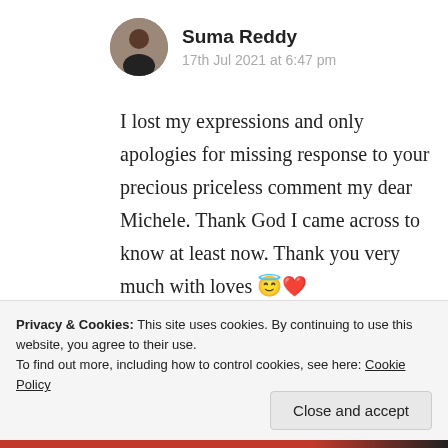Suma Reddy
17th Jul 2021 at 6:47 pm
I lost my expressions and only apologies for missing response to your precious priceless comment my dear Michele. Thank God I came across to know at least now. Thank you very much with loves 😇❤️
★ Liked by 1 person
Privacy & Cookies: This site uses cookies. By continuing to use this website, you agree to their use.
To find out more, including how to control cookies, see here: Cookie Policy
Close and accept